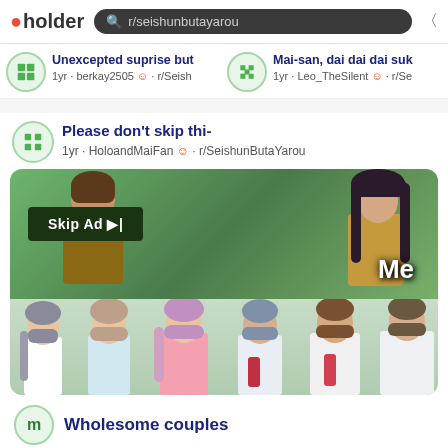pholder — r/seishunbutayarou
Unexcepted suprise but — 1yr · berkay2505 · r/Seish
Mai-san, dai dai dai suk — 1yr · Leo_TheSilent · r/Se
Please don't skip thi- — 1yr · HoloandMaiFan · r/SeishunButaYarou
[Figure (screenshot): Anime screenshot meme showing two characters facing each other with a 'Skip Ad' button overlay on the left and 'Me' label on the right, plus a group of anime characters in the bottom half]
Wholesome couples